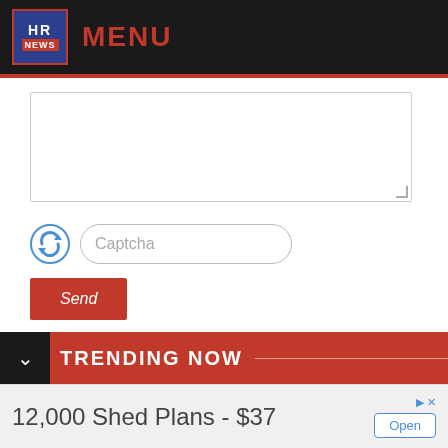HR NEWS — MENU
[Figure (screenshot): Text area input field (empty) with resize handle in bottom-right corner]
[Figure (screenshot): Captcha input field with refresh icon and 'Captcha' placeholder text]
[Figure (screenshot): Red 'Send' button]
TRENDING NOW
12,000 Shed Plans - $37